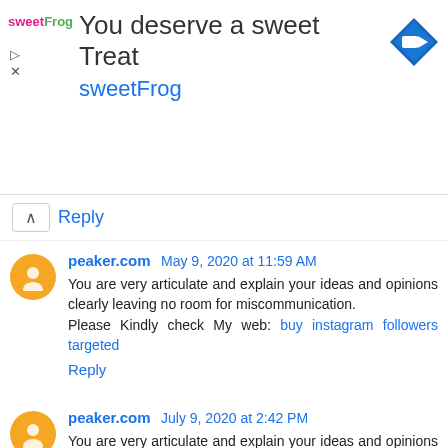[Figure (other): Advertisement banner for sweetFrog: 'You deserve a sweet Treat' with sweetFrog logo and navigation icon]
Reply
peaker.com May 9, 2020 at 11:59 AM
You are very articulate and explain your ideas and opinions clearly leaving no room for miscommunication.
Please Kindly check My web: buy instagram followers targeted
Reply
peaker.com July 9, 2020 at 2:42 PM
You are very articulate and explain your ideas and opinions clearly leaving no room for miscommunication.Please Kindly check My web:buy instagram tv likes
Reply